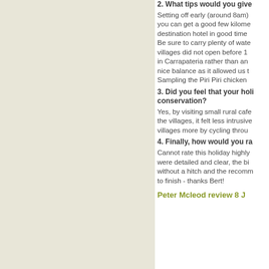2. What tips would you give
Setting off early (around 8am) you can get a good few kilome destination hotel in good time Be sure to carry plenty of wate villages did not open before 1 in Carrapateria rather than an nice balance as it allowed us t Sampling the Piri Piri chicken
3. Did you feel that your holi conservation?
Yes, by visiting small rural cafe the villages, it felt less intrusive villages more by cycling throu
4. Finally, how would you ra
Cannot rate this holiday highly were detailed and clear, the bi without a hitch and the recomm to finish - thanks Bert!
Peter Mcleod review 8 J